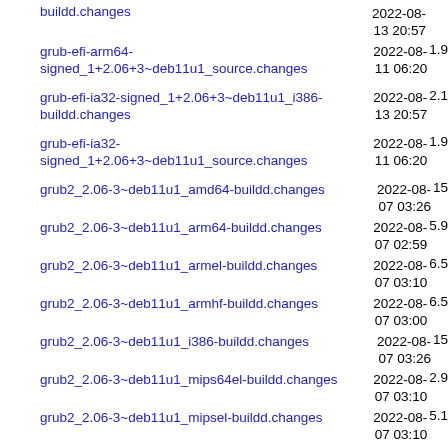buildd.changes  2022-08-13 20:57
grub-efi-arm64-signed_1+2.06+3~deb11u1_source.changes  2022-08-11 06:20  1.9
grub-efi-ia32-signed_1+2.06+3~deb11u1_i386-buildd.changes  2022-08-13 20:57  2.1
grub-efi-ia32-signed_1+2.06+3~deb11u1_source.changes  2022-08-11 06:20  1.9
grub2_2.06-3~deb11u1_amd64-buildd.changes  2022-08-07 03:26  15
grub2_2.06-3~deb11u1_arm64-buildd.changes  2022-08-07 02:59  5.9
grub2_2.06-3~deb11u1_armel-buildd.changes  2022-08-07 03:10  6.5
grub2_2.06-3~deb11u1_armhf-buildd.changes  2022-08-07 03:00  6.5
grub2_2.06-3~deb11u1_i386-buildd.changes  2022-08-07 03:26  15
grub2_2.06-3~deb11u1_mips64el-buildd.changes  2022-08-07 03:10  2.9
grub2_2.06-3~deb11u1_mipsel-buildd.changes  2022-08-07 03:10  5.1
grub2_2.06-3~deb11u1_ppc64el-buildd.changes  2022-08-  5.9